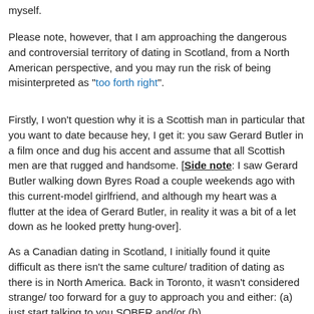myself.
Please note, however, that I am approaching the dangerous and controversial territory of dating in Scotland, from a North American perspective, and you may run the risk of being misinterpreted as "too forth right".
Firstly, I won't question why it is a Scottish man in particular that you want to date because hey, I get it: you saw Gerard Butler in a film once and dug his accent and assume that all Scottish men are that rugged and handsome. [Side note: I saw Gerard Butler walking down Byres Road a couple weekends ago with this current-model girlfriend, and although my heart was a flutter at the idea of Gerard Butler, in reality it was a bit of a let down as he looked pretty hung-over].
As a Canadian dating in Scotland, I initially found it quite difficult as there isn't the same culture/ tradition of dating as there is in North America. Back in Toronto, it wasn't considered strange/ too forward for a guy to approach you and either: (a) just start talking to you SOBER and/or (b)